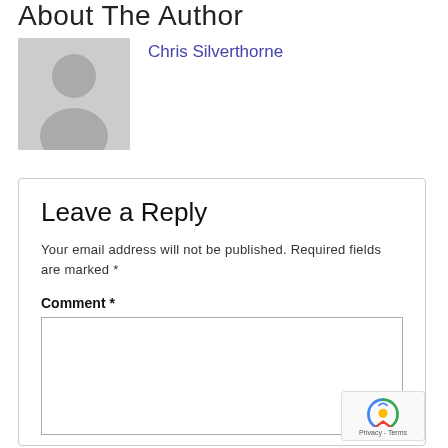About The Author
Chris Silverthorne
[Figure (illustration): Generic avatar placeholder image — grey silhouette of a person on light grey background]
Leave a Reply
Your email address will not be published. Required fields are marked *
Comment *
[Figure (screenshot): reCAPTCHA badge with Privacy - Terms text]